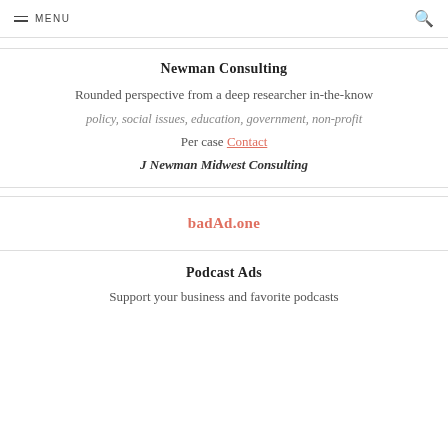MENU
Newman Consulting
Rounded perspective from a deep researcher in-the-know
policy, social issues, education, government, non-profit
Per case Contact
J Newman Midwest Consulting
badAd.one
Podcast Ads
Support your business and favorite podcasts